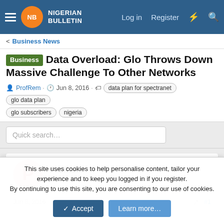Nigerian Bulletin — Log in | Register
< Business News
Business Data Overload: Glo Throws Down Massive Challenge To Other Networks
ProfRem · Jun 8, 2016 · data plan for spectranet  glo data plan  glo subscribers  nigeria
Quick search…
ProfRem
Guest
Jun 8, 2016  #1
This site uses cookies to help personalise content, tailor your experience and to keep you logged in if you register.
By continuing to use this site, you are consenting to our use of cookies.